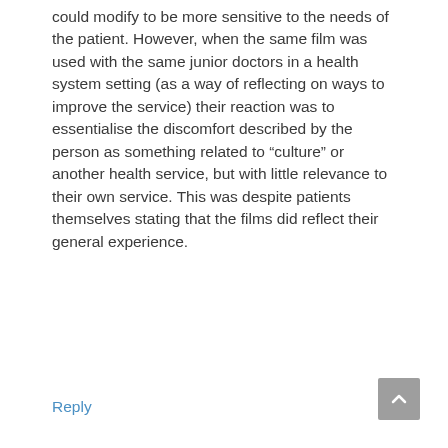could modify to be more sensitive to the needs of the patient. However, when the same film was used with the same junior doctors in a health system setting (as a way of reflecting on ways to improve the service) their reaction was to essentialise the discomfort described by the person as something related to “culture” or another health service, but with little relevance to their own service. This was despite patients themselves stating that the films did reflect their general experience.
Reply